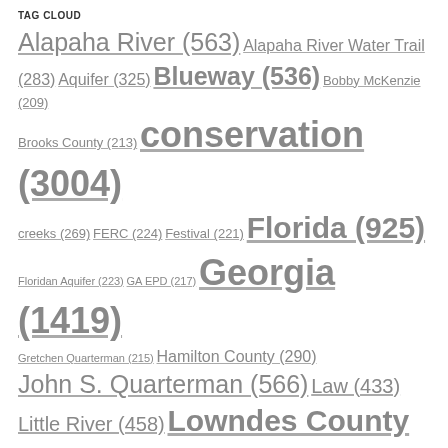TAG CLOUD
Alapaha River (563) Alapaha River Water Trail (283) Aquifer (325) Blueway (536) Bobby McKenzie (209) Brooks County (213) conservation (3004) creeks (269) FERC (224) Festival (221) Florida (925) Floridan Aquifer (223) GA EPD (217) Georgia (1419) Gretchen Quarterman (215) Hamilton County (290) John S. Quarterman (566) Law (433) Little River (458) Lowndes County (914) north Florida (2889) Okapilco Creek (224) Outing (488) pipeline (569) PR (212) quality (977) Quantity (333) river (2551) Sabal Trail Transmission (492) Santa Fe River (205) south Georgia (2915) Spectra Energy (441) Suwannee County (222) Suwannee River (875) Suwannee Riverkeeper (2210) testing (426) Valdosta (796) VWW (480) watershed (2492) Weather (224)